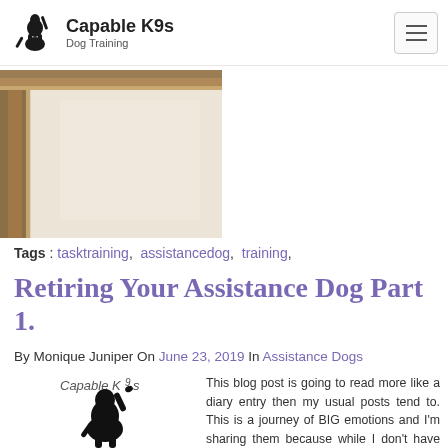Capable K9s Dog Training
[Figure (photo): Partial photo showing a wall corner with wooden frame, light beige/cream colored wall]
Tags : tasktraining, assistancedog, training,
Retiring Your Assistance Dog Part 1.
By Monique Juniper On June 23, 2019 In Assistance Dogs
[Figure (logo): Capable K9s logo — black silhouette of a dog standing on hind legs with one paw raised, with text 'Capable K9s']
This blog post is going to read more like a diary entry then my usual posts tend to. This is a journey of BIG emotions and I'm sharing them because while I don't have all the answers right now, in the future this experience is going to serve me to help my